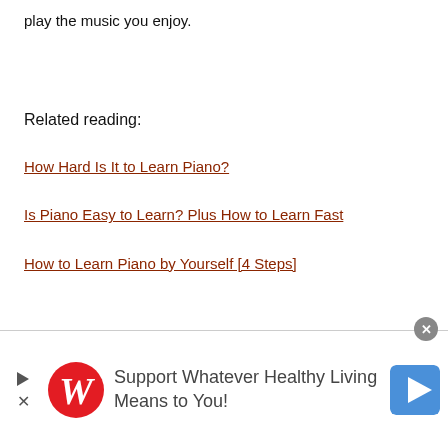play the music you enjoy.
Related reading:
How Hard Is It to Learn Piano?
Is Piano Easy to Learn? Plus How to Learn Fast
How to Learn Piano by Yourself [4 Steps]
[Figure (screenshot): Advertisement banner: Walgreens ad reading 'Support Whatever Healthy Living Means to You!' with play icon, W logo, and G logo button on right. Has close (x) button.]